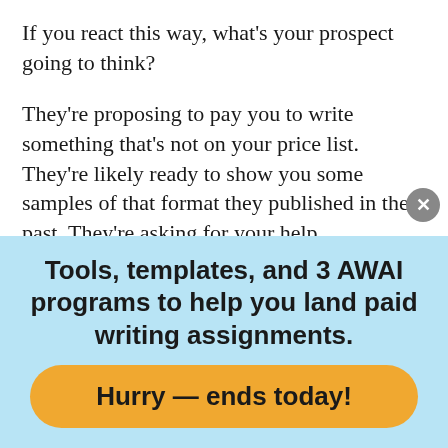If you react this way, what's your prospect going to think?
They're proposing to pay you to write something that's not on your price list. They're likely ready to show you some samples of that format they published in the past. They're asking for your help.
Do you really want to dither and miss out on that opportunity? Do you want to force that prospect to keep looking for another writer — even though you're the first choice?
[Figure (infographic): Light blue promotional banner with bold black text: 'Tools, templates, and 3 AWAI programs to help you land paid writing assignments.' Below is an orange rounded button with bold text: 'Hurry — ends today!' A grey close button with X appears at the top right of the banner.]